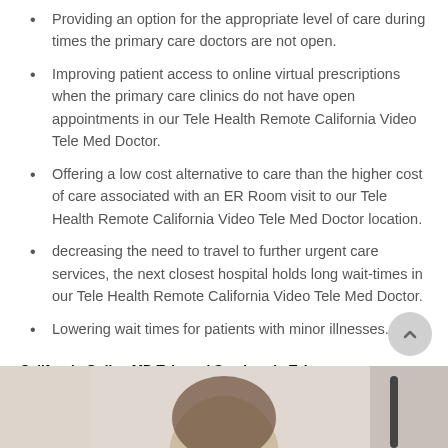Providing an option for the appropriate level of care during times the primary care doctors are not open.
Improving patient access to online virtual prescriptions when the primary care clinics do not have open appointments in our Tele Health Remote California Video Tele Med Doctor.
Offering a low cost alternative to care than the higher cost of care associated with an ER Room visit to our Tele Health Remote California Video Tele Med Doctor location.
decreasing the need to travel to further urgent care services, the next closest hospital holds long wait-times in our Tele Health Remote California Video Tele Med Doctor.
Lowering wait times for patients with minor illnesses.
California Online MD Telemed Services in Tehama
[Figure (photo): Photo of a woman (medical professional or patient) visible from shoulders up, partial view at bottom of page.]